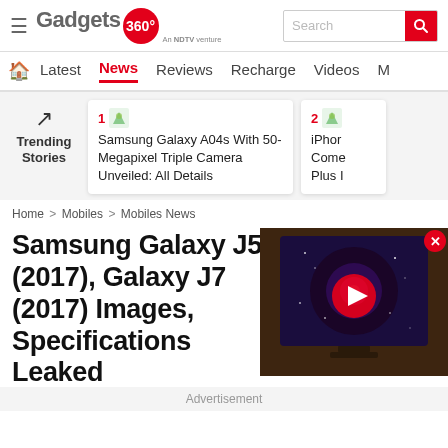Gadgets 360 - An NDTV venture
[Figure (screenshot): Gadgets 360 website navigation bar with Home, Latest, News (active), Reviews, Recharge, Videos, More tabs]
[Figure (screenshot): Trending Stories section with trending arrow icon and two cards: 1) Samsung Galaxy A04s With 50-Megapixel Triple Camera Unveiled: All Details, 2) iPhone partial text]
Home > Mobiles > Mobiles News
Samsung Galaxy J5 (2017), Galaxy J7 (2017) Images, Specifications Leaked
[Figure (screenshot): Video player thumbnail showing a TV with a galaxy/space wallpaper and a red play button overlay]
Advertisement